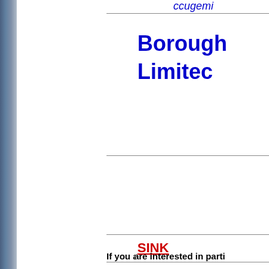ccugemi...
Borough Limited
SINK
If you are interested in parti...